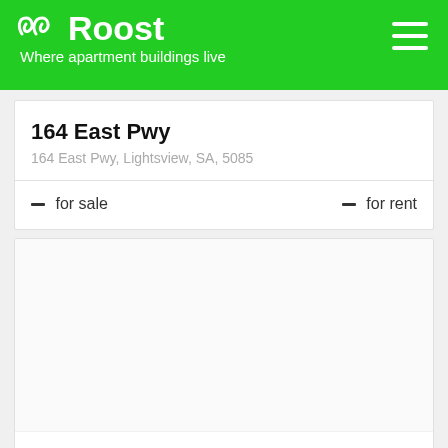Roost — Where apartment buildings live
164 East Pwy
164 East Pwy, Lightsview, SA, 5085
- for sale   - for rent
2-26 East Pwy
2-26 East Pwy, Lightsview, SA, 5085